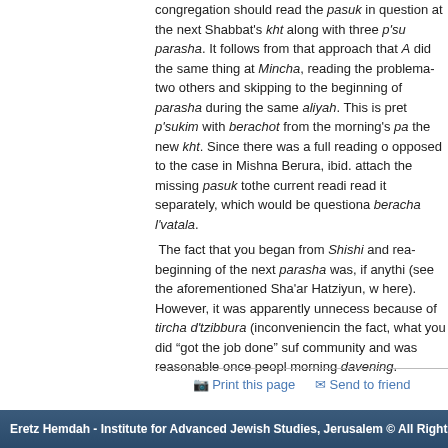congregation should read the pasuk in question at the next Shabbat's kht along with three p'sukim of the parasha. It follows from that approach that A did the same thing at Mincha, reading the problematic pasuk with two others and skipping to the beginning of the next parasha during the same aliyah. This is preferable to p'sukim with berachot from the morning's parasha and the new kht. Since there was a full reading of it (as opposed to the case in Mishna Berura, ibid.), one cannot attach the missing pasuk tothe current reading, and to read it separately, which would be questionable as a beracha l'vatala.
 The fact that you began from Shishi and read to the beginning of the next parasha was, if anything, better (see the aforementioned Sha'ar Hatziyun, which applies here). However, it was apparently unnecessarily long because of tircha d'tzibbura (inconveniencing...). After the fact, what you did "got the job done" sufficiently for the community and was reasonable once people stayed for the morning davening.
Print this page   Send to friend
Eretz Hemdah - Institute for Advanced Jewish Studies, Jerusalem © All Rights Reserv...